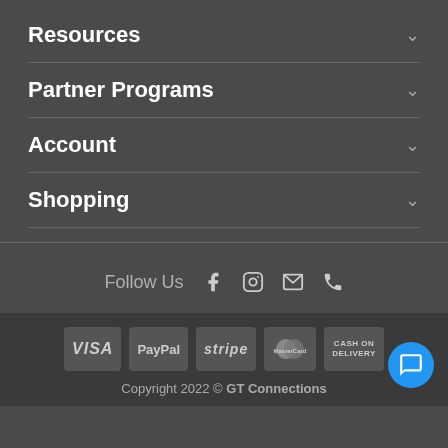Resources
Partner Programs
Account
Shopping
Follow Us
[Figure (infographic): Payment method logos: VISA, PayPal, stripe, MasterCard, CASH ON DELIVERY, and a blue chat button]
Copyright 2022 © GT Connections